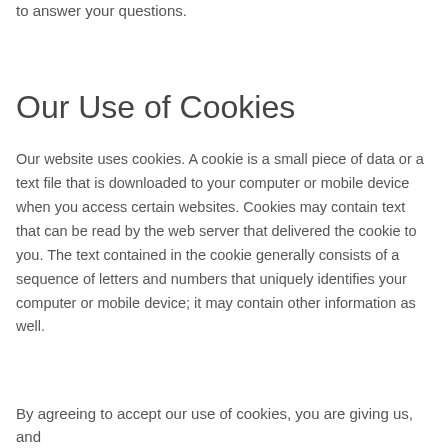to answer your questions.
Our Use of Cookies
Our website uses cookies. A cookie is a small piece of data or a text file that is downloaded to your computer or mobile device when you access certain websites. Cookies may contain text that can be read by the web server that delivered the cookie to you. The text contained in the cookie generally consists of a sequence of letters and numbers that uniquely identifies your computer or mobile device; it may contain other information as well.
By agreeing to accept our use of cookies, you are giving us, and